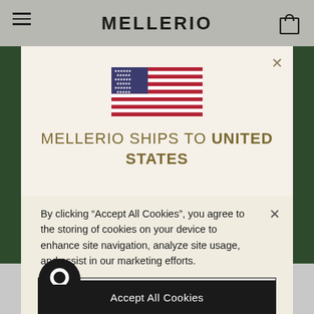MELLERIO
[Figure (illustration): US flag SVG illustration]
MELLERIO SHIPS TO UNITED STATES
By clicking “Accept All Cookies”, you agree to the storing of cookies on your device to enhance site navigation, analyze site usage, and assist in our marketing efforts.
Cookies Settings
Reject All
Accept All Cookies